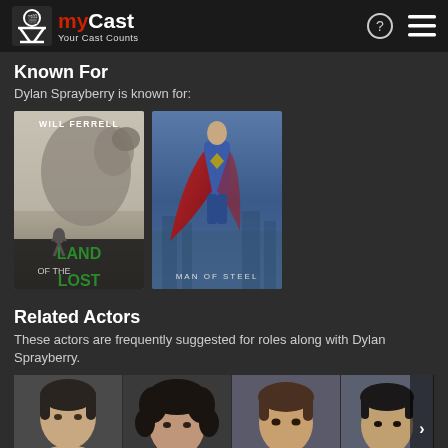myCast — Your Cast Counts
Known For
Dylan Sprayberry is known for:
[Figure (photo): Movie poster for Land of the Lost featuring Will Ferrell and a dinosaur]
[Figure (photo): Movie poster for Man of Steel showing Superman with red cape]
Related Actors
These actors are frequently suggested for roles along with Dylan Sprayberry.
[Figure (photo): Headshot of a young male actor with short dark hair]
[Figure (photo): Headshot of a young male actor with curly dark hair]
[Figure (photo): Headshot of a young male actor with brown hair]
[Figure (photo): Headshot of a young male actor with dark hair, partially cropped]